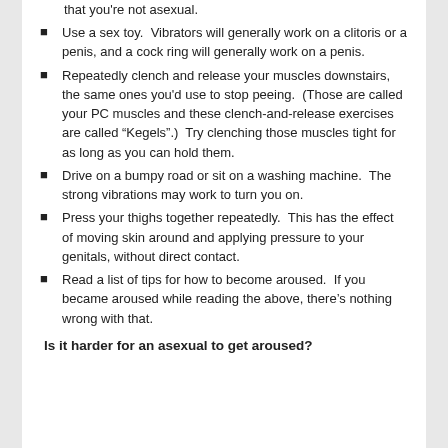that you're not asexual.
Use a sex toy.  Vibrators will generally work on a clitoris or a penis, and a cock ring will generally work on a penis.
Repeatedly clench and release your muscles downstairs, the same ones you'd use to stop peeing.  (Those are called your PC muscles and these clench-and-release exercises are called “Kegels”.)  Try clenching those muscles tight for as long as you can hold them.
Drive on a bumpy road or sit on a washing machine.  The strong vibrations may work to turn you on.
Press your thighs together repeatedly.  This has the effect of moving skin around and applying pressure to your genitals, without direct contact.
Read a list of tips for how to become aroused.  If you became aroused while reading the above, there’s nothing wrong with that.
Is it harder for an asexual to get aroused?